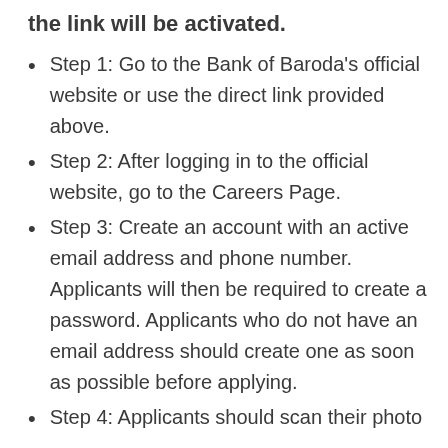the link will be activated.
Step 1: Go to the Bank of Baroda’s official website or use the direct link provided above.
Step 2: After logging in to the official website, go to the Careers Page.
Step 3: Create an account with an active email address and phone number. Applicants will then be required to create a password. Applicants who do not have an email address should create one as soon as possible before applying.
Step 4: Applicants should scan their photo